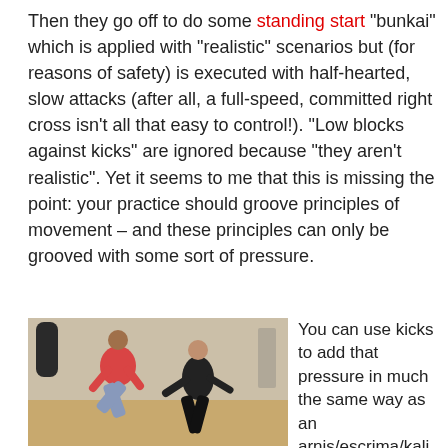Then they go off to do some standing start "bunkai" which is applied with "realistic" scenarios but (for reasons of safety) is executed with half-hearted, slow attacks (after all, a full-speed, committed right cross isn't all that easy to control!). "Low blocks against kicks" are ignored because "they aren't realistic". Yet it seems to me that this is missing the point: your practice should groove principles of movement – and these principles can only be grooved with some sort of pressure.
[Figure (photo): Two martial artists in a dojo. One person wearing a red top and grey pants is performing a kick, while another person in all black is in a defensive stance. There is a punching bag visible in the background.]
You can use kicks to add that pressure in much the same way as an arnis/escrima/kali baston can add speed